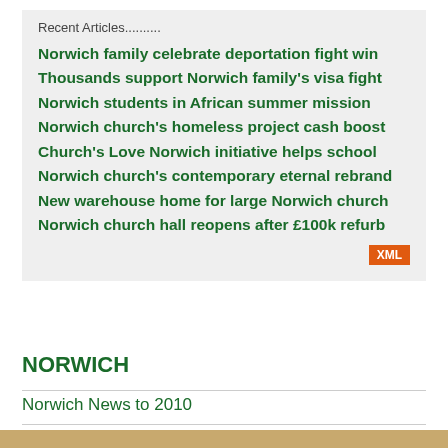Recent Articles..........
Norwich family celebrate deportation fight win
Thousands support Norwich family's visa fight
Norwich students in African summer mission
Norwich church's homeless project cash boost
Church's Love Norwich initiative helps school
Norwich church's contemporary eternal rebrand
New warehouse home for large Norwich church
Norwich church hall reopens after £100k refurb
NORWICH
Norwich News to 2010